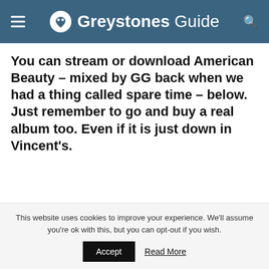Greystones Guide
You can stream or download American Beauty – mixed by GG back when we had a thing called spare time – below. Just remember to go and buy a real album too. Even if it is just down in Vincent's.
This website uses cookies to improve your experience. We'll assume you're ok with this, but you can opt-out if you wish.
Accept   Read More